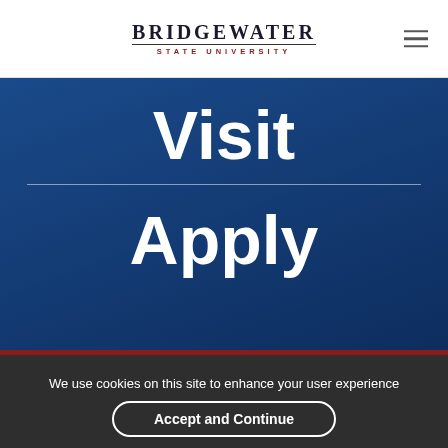BRIDGEWATER STATE UNIVERSITY
Visit
Apply
We use cookies on this site to enhance your user experience
Accept and Continue